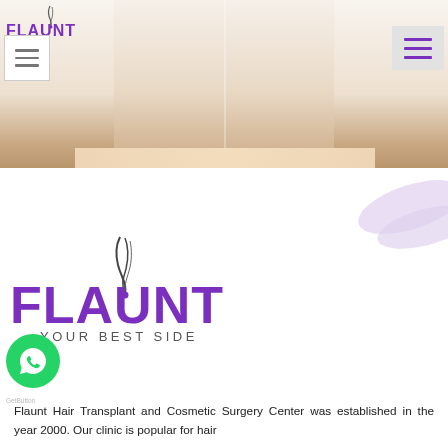[Figure (photo): Hero banner showing a cosmetic surgery scene with a beige/cream colored background]
[Figure (logo): Flaunt Your Best Side small logo in top-left header]
[Figure (illustration): Decorative lavender leaf/petal design element on the right side]
[Figure (logo): Flaunt Your Best Side large purple logo with hair strand icon]
Flaunt Hair Transplant and Cosmetic Surgery Center was established in the year 2000. Our clinic is popular for hair